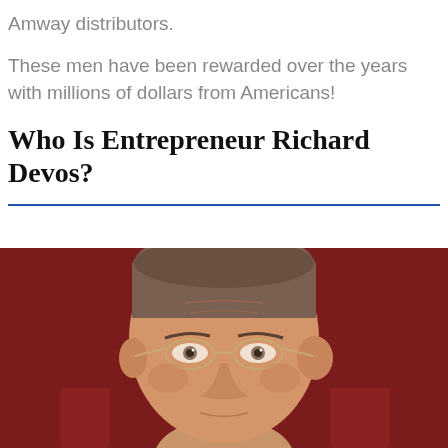Amway distributors.
These men have been rewarded over the years with millions of dollars from Americans!
Who Is Entrepreneur Richard Devos?
[Figure (photo): Portrait photo of an elderly man with glasses against a dark red/maroon background, cropped to show head and upper face area.]